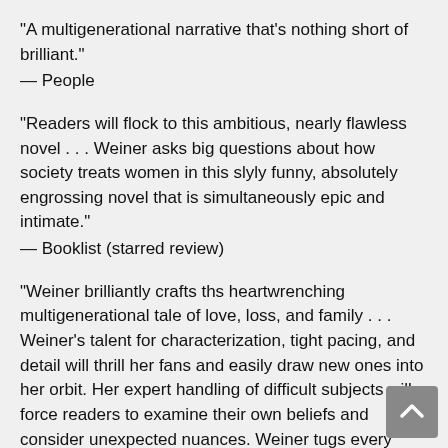"A multigenerational narrative that's nothing short of brilliant."
— People
"Readers will flock to this ambitious, nearly flawless novel . . . Weiner asks big questions about how society treats women in this slyly funny, absolutely engrossing novel that is simultaneously epic and intimate."
— Booklist (starred review)
"Weiner brilliantly crafts ths heartwrenching multigenerational tale of love, loss, and family . . . Weiner's talent for characterization, tight pacing, and detail will thrill her fans and easily draw new ones into her orbit. Her expert handling of difficult subjects will force readers to examine their own beliefs and consider unexpected nuances. Weiner tugs every heartstring with this vivid tale."
— Publishers Weekly (starred review)
"Jennifer Weiner has created a novel for the ages in Mrs. Everything, which is as impressive as it is ambitious... a skillfully